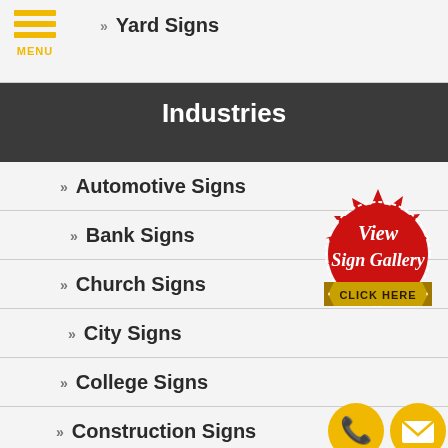Yard Signs
Industries
Automotive Signs
Bank Signs
Church Signs
City Signs
College Signs
Construction Signs
[Figure (illustration): Red seal/badge with cursive text 'View Sign Gallery' and gold ribbon banner reading 'CLICK HERE']
[Figure (illustration): Gold circular phone icon and gold circular email/envelope icon at bottom right]